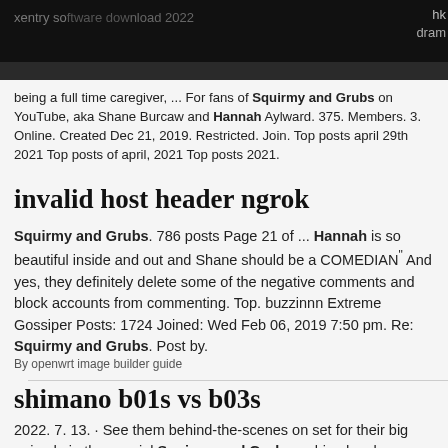xentry software download 2022
being a full time caregiver, ... For fans of Squirmy and Grubs on YouTube, aka Shane Burcaw and Hannah Aylward. 375. Members. 3. Online. Created Dec 21, 2019. Restricted. Join. Top posts april 29th 2021 Top posts of april, 2021 Top posts 2021.
invalid host header ngrok
Squirmy and Grubs. 786 posts Page 21 of ... Hannah is so beautiful inside and out and Shane should be a COMEDIAN" And yes, they definitely delete some of the negative comments and block accounts from commenting. Top. buzzinnn Extreme Gossiper Posts: 1724 Joined: Wed Feb 06, 2019 7:50 pm. Re: Squirmy and Grubs. Post by.
By openwrt image builder guide
shimano b01s vs b03s
2022. 7. 13. · See them behind-the-scenes on set for their big episode in the special Squirmy and Grubs webisode, above. And keep tuning in for more great storylines as Ordinary Joe 's season continues on NBC.